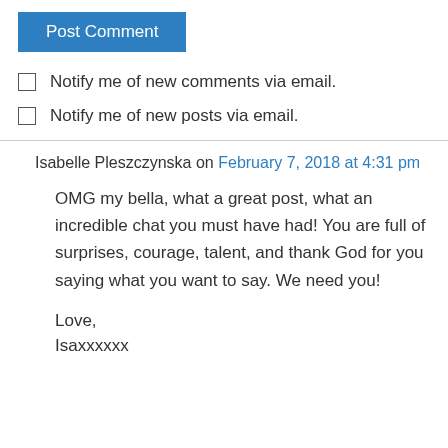Post Comment
Notify me of new comments via email.
Notify me of new posts via email.
Isabelle Pleszczynska on February 7, 2018 at 4:31 pm
OMG my bella, what a great post, what an incredible chat you must have had! You are full of surprises, courage, talent, and thank God for you saying what you want to say. We need you!

Love,
Isaxxxxxx